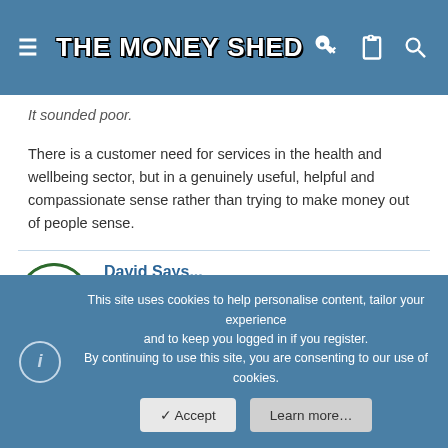THE MONEY SHED
It sounded poor.
There is a customer need for services in the health and wellbeing sector, but in a genuinely useful, helpful and compassionate sense rather than trying to make money out of people sense.
David Says... Money Making Megastar! Joined: Jun 13, 2018  Messages: 91  Points: 168  Website: www.cashpie.co.uk
Aug 27, 2019  #19
This site uses cookies to help personalise content, tailor your experience and to keep you logged in if you register. By continuing to use this site, you are consenting to our use of cookies.